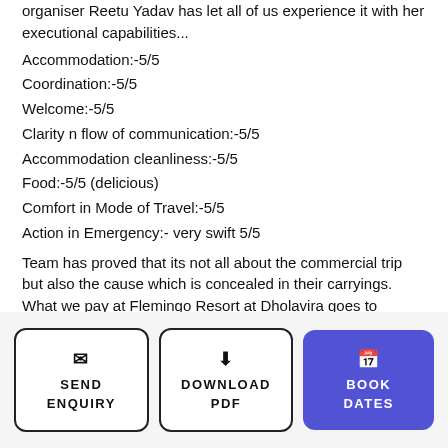organiser Reetu Yadav has let all of us experience it with her executional capabilities...
Accommodation:-5/5
Coordination:-5/5
Welcome:-5/5
Clarity n flow of communication:-5/5
Accommodation cleanliness:-5/5
Food:-5/5 (delicious)
Comfort in Mode of Travel:-5/5
Action in Emergency:- very swift 5/5
Team has proved that its not all about the commercial trip but also the cause which is concealed in their carryings. What we pay at Flemingo Resort at Dholavira goes to educate and for taking care of more than 400 students and their boarding facilities as well.
SEND ENQUIRY | DOWNLOAD PDF | BOOK DATES